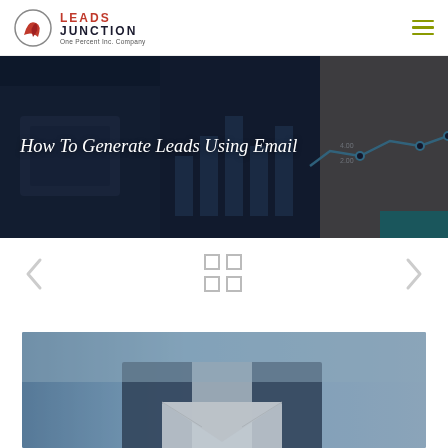Leads Junction — One Percent Inc. Company
[Figure (photo): Hero banner with blurred background of office/charts and the italic title text overlaid]
How To Generate Leads Using Email
[Figure (other): Navigation left arrow, 2x2 grid icon, and right arrow navigation controls]
[Figure (photo): Bottom portion of a photo showing a person in a suit holding an envelope, blue-toned business image]